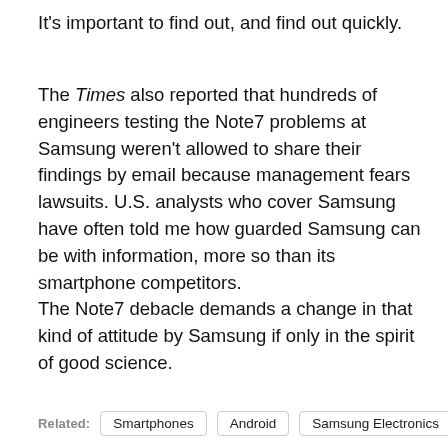It's important to find out, and find out quickly.
The Times also reported that hundreds of engineers testing the Note7 problems at Samsung weren't allowed to share their findings by email because management fears lawsuits. U.S. analysts who cover Samsung have often told me how guarded Samsung can be with information, more so than its smartphone competitors.
The Note7 debacle demands a change in that kind of attitude by Samsung if only in the spirit of good science.
Related: Smartphones  Android  Samsung Electronics